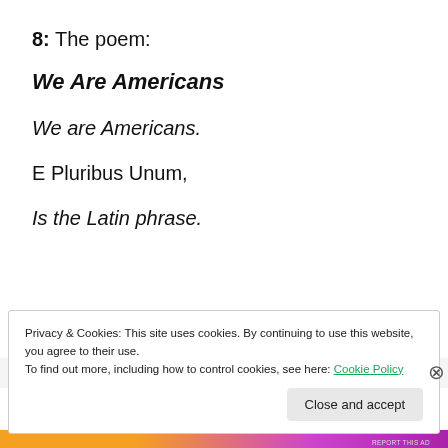8: The poem:
We Are Americans
We are Americans.
E Pluribus Unum,
Is the Latin phrase.
[Figure (other): Advertisement banner with orange and purple gradient bar, with 'REPORT THIS AD' text]
Privacy & Cookies: This site uses cookies. By continuing to use this website, you agree to their use.
To find out more, including how to control cookies, see here: Cookie Policy